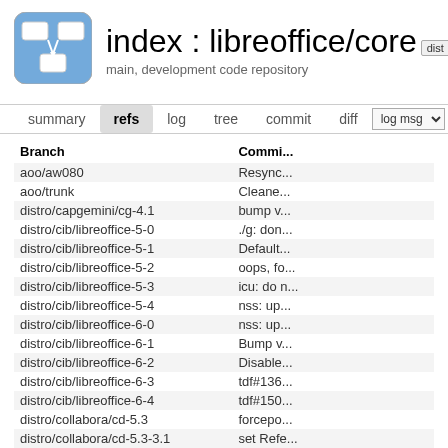[Figure (logo): cgit logo: blue rounded rectangle with white overlapping rectangle shapes and arrow]
index : libreoffice/core
main, development code repository
| Branch | Commi... |
| --- | --- |
| aoo/aw080 | Resync... |
| aoo/trunk | Cleane... |
| distro/capgemini/cg-4.1 | bump v... |
| distro/cib/libreoffice-5-0 | ./g: don... |
| distro/cib/libreoffice-5-1 | Default... |
| distro/cib/libreoffice-5-2 | oops, fo... |
| distro/cib/libreoffice-5-3 | icu: do n... |
| distro/cib/libreoffice-5-4 | nss: up... |
| distro/cib/libreoffice-6-0 | nss: up... |
| distro/cib/libreoffice-6-1 | Bump v... |
| distro/cib/libreoffice-6-2 | Disable... |
| distro/cib/libreoffice-6-3 | tdf#136... |
| distro/cib/libreoffice-6-4 | tdf#150... |
| distro/collabora/cd-5.3 | forcepo... |
| distro/collabora/cd-5.3-3.1 | set Refe... |